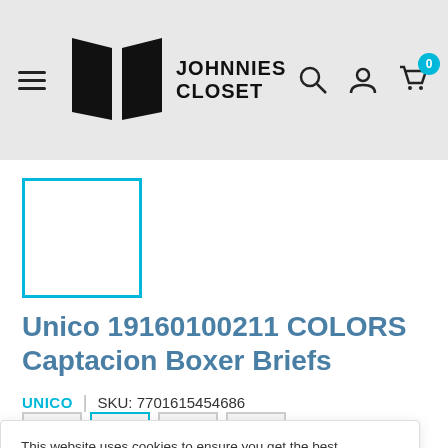Johnnies Closet — navigation header with logo, hamburger menu, search, user, and cart icons
[Figure (other): Product thumbnail placeholder — white square with teal/cyan border]
Unico 19160100211 COLORS Captacion Boxer Briefs
UNICO | SKU: 7701615454686
This website uses cookies to ensure you get the best experience on our website.
Accept